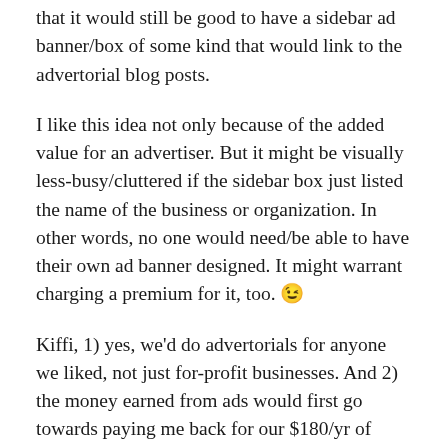that it would still be good to have a sidebar ad banner/box of some kind that would link to the advertorial blog posts.
I like this idea not only because of the added value for an advertiser. But it might be visually less-busy/cluttered if the sidebar box just listed the name of the business or organization. In other words, no one would need/be able to have their own ad banner designed. It might warrant charging a premium for it, too. 😉
Kiffi, 1) yes, we'd do advertorials for anyone we liked, not just for-profit businesses. And 2) the money earned from ads would first go towards paying me back for our $180/yr of expenses (outrageous, I know). And then it would